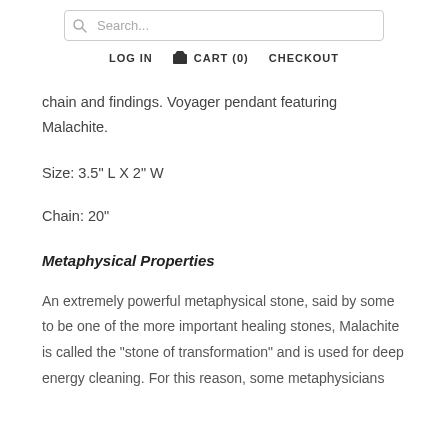Search... | LOG IN  CART (0)  CHECKOUT
chain and findings. Voyager pendant featuring Malachite.
Size: 3.5" L X 2" W
Chain: 20"
Metaphysical Properties
An extremely powerful metaphysical stone, said by some to be one of the more important healing stones, Malachite is called the "stone of transformation" and is used for deep energy cleaning. For this reason, some metaphysicians